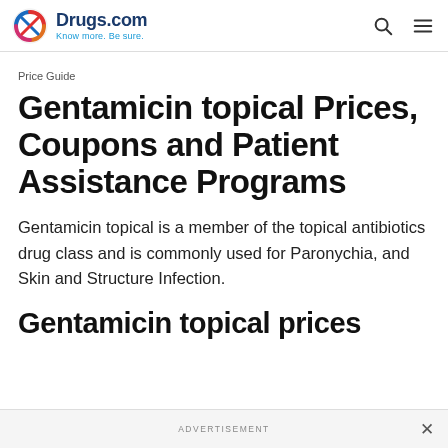Drugs.com — Know more. Be sure.
Price Guide
Gentamicin topical Prices, Coupons and Patient Assistance Programs
Gentamicin topical is a member of the topical antibiotics drug class and is commonly used for Paronychia, and Skin and Structure Infection.
Gentamicin topical prices